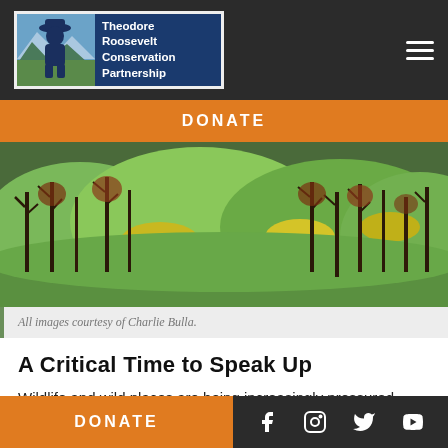[Figure (logo): Theodore Roosevelt Conservation Partnership logo with silhouette figure and mountain background]
DONATE
[Figure (photo): Landscape photo of hills with green meadows and burned/dead conifer trees]
All images courtesy of Charlie Bulla.
A Critical Time to Speak Up
Wildlife and wild places are being increasingly pressured through the loss and fragmentation of quality habitat from energy extraction and residential development. This trend needs to be halted to
DONATE
Social media icons: Facebook, Instagram, Twitter, YouTube